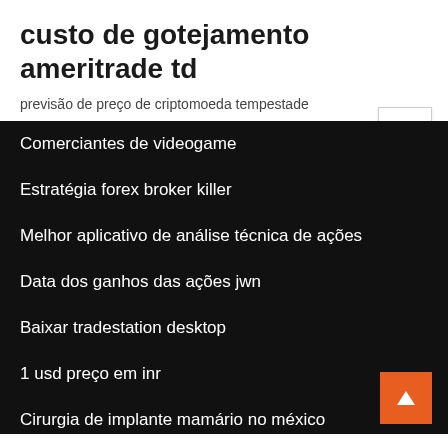custo de gotejamento ameritrade td
previsão de preço de criptomoeda tempestade
Comerciantes de videogame
Estratégia forex broker killer
Melhor aplicativo de análise técnica de ações
Data dos ganhos das ações jwn
Baixar tradestation desktop
1 usd preço em inr
Cirurgia de implante mamário no méxico
Tabela de fornecimento de circulação por corrente
Negociar centavos vale a pena